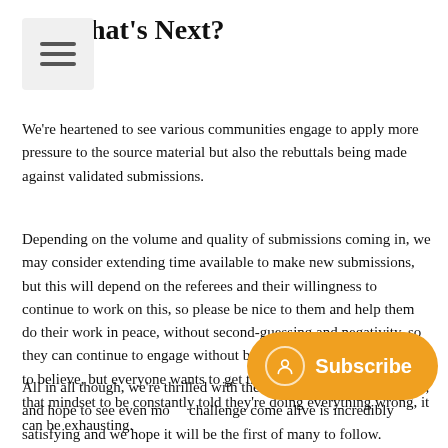What's Next?
We're heartened to see various communities engage to apply more pressure to the source material but also the rebuttals being made against validated submissions.
Depending on the volume and quality of submissions coming in, we may consider extending time available to make new submissions, but this will depend on the referees and their willingness to continue to work on this, so please be nice to them and help them do their work in peace, without second-guessing and negativity, so they can continue to engage without being burnt out. It may be hard to believe, but everyone wants to get this right, and for people with that mindset to be constantly told they're doing everything wrong, it can be exhausting.
All in all though, we're thrilled with the eng... in both phases, and hope to see even mo... challenge come alive is incredibly satisfying and we hope it will be the first of many to follow.